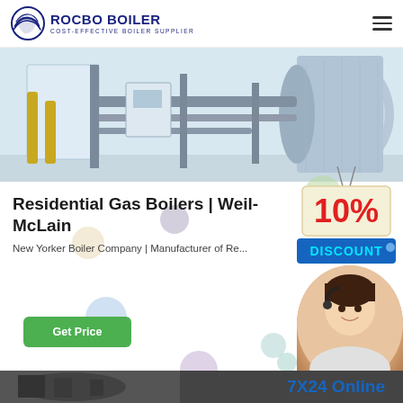[Figure (logo): Rocbo Boiler logo with circular wave icon and text 'ROCBO BOILER - COST-EFFECTIVE BOILER SUPPLIER']
[Figure (photo): Industrial boiler machinery room with large cylindrical boiler units and piping]
Residential Gas Boilers | Weil-McLain
New Yorker Boiler Company | Manufacturer of Re...
[Figure (illustration): 10% Discount badge with decorative bubbles]
[Figure (photo): Customer service agent wearing headset, smiling]
Get Price
7X24 Online